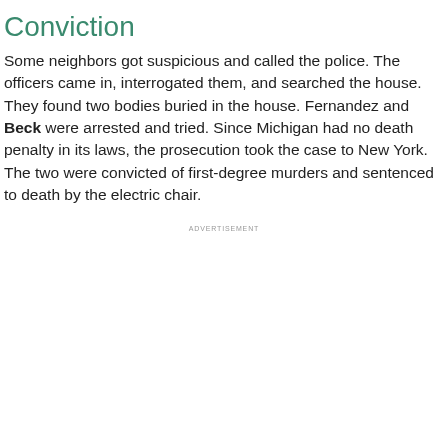Conviction
Some neighbors got suspicious and called the police. The officers came in, interrogated them, and searched the house. They found two bodies buried in the house. Fernandez and Beck were arrested and tried. Since Michigan had no death penalty in its laws, the prosecution took the case to New York. The two were convicted of first-degree murders and sentenced to death by the electric chair.
ADVERTISEMENT